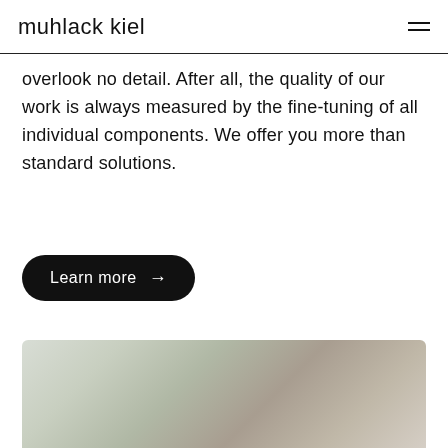muhlack kiel
overlook no detail. After all, the quality of our work is always measured by the fine-tuning of all individual components. We offer you more than standard solutions.
Learn more →
[Figure (photo): Blurred outdoor or interior photo, showing greenish and beige/tan tones, partially visible at the bottom of the page.]